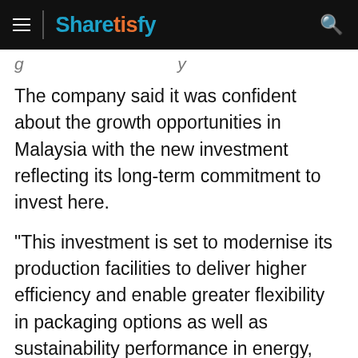Sharetisfy
The company said it was confident about the growth opportunities in Malaysia with the new investment reflecting its long-term commitment to invest here.
"This investment is set to modernise its production facilities to deliver higher efficiency and enable greater flexibility in packaging options as well as sustainability performance in energy, water and waste